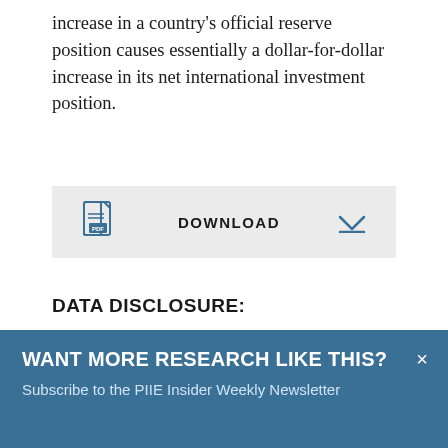increase in a country's official reserve position causes essentially a dollar-for-dollar increase in its net international investment position.
[Figure (other): DOWNLOAD button bar with PDF icon on the left, bold 'DOWNLOAD' text in center, and a chevron/arrow dropdown indicator on the right, on a light grey background.]
DATA DISCLOSURE:
WANT MORE RESEARCH LIKE THIS?
Subscribe to the PIIE Insider Weekly Newsletter